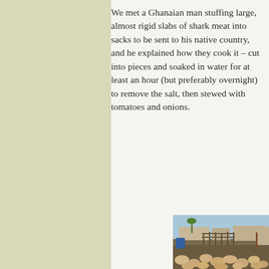We met a Ghanaian man stuffing large, almost rigid slabs of shark meat into sacks to be sent to his native country, and he explained how they cook it – cut into pieces and soaked in water for at least an hour (but preferably overnight) to remove the salt, then stewed with tomatoes and onions.
[Figure (photo): Outdoor scene showing large pieces of salted/dried fish or shark meat spread out on the ground and mesh racks in a coastal processing area, with wooden drying structures, blue barrels, palm trees, and buildings in the background under a clear sky.]